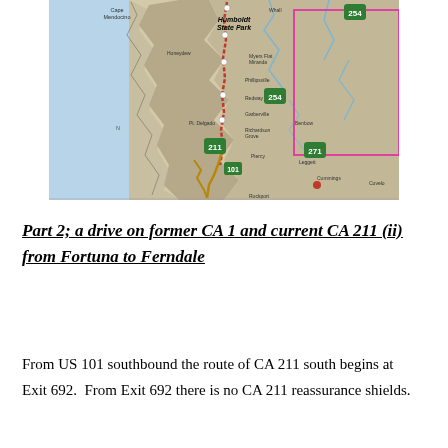[Figure (map): Road map of the Northern California coast showing Humboldt State Park area, with routes including US 101, CA 211, CA 254, and CA 271. The map shows coastal terrain, place names including Cape Mendocino, Pt. Delgado, Garberville, Richardson Grove, Leggett, Rockport, and others. A pink/magenta rectangle outlines an area on the eastern portion. A red route line runs along the coast, and brown/gold route lines show highway paths.]
Part 2; a drive on former CA 1 and current CA 211 (ii) from Fortuna to Ferndale
From US 101 southbound the route of CA 211 south begins at Exit 692.  From Exit 692 there is no CA 211 reassurance shields.